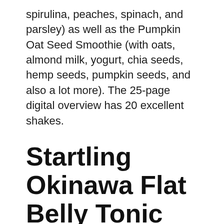spirulina, peaches, spinach, and parsley) as well as the Pumpkin Oat Seed Smoothie (with oats, almond milk, yogurt, chia seeds, hemp seeds, pumpkin seeds, and also a lot more). The 25-page digital overview has 20 excellent shakes.
Startling Okinawa Flat Belly Tonic Drink Scam Complaints.
The large increase sought after and also popularity Mike Banner's Okinawa Flat Belly Tonic weight reduction beverage recipe has many advantages that its only true downside is that it has actually induced unethical sales